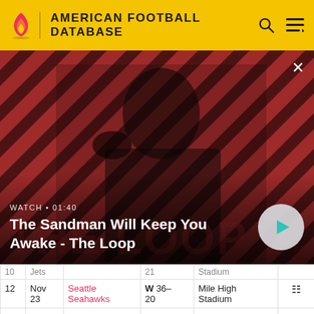AMERICAN FOOTBALL DATABASE
[Figure (screenshot): Video banner showing a dark-themed promotional image for 'The Sandman Will Keep You Awake - The Loop' with a man dressed in black with a raven on his shoulder, against a red and dark diagonal striped background. Overlay text reads 'WATCH • 01:40' and the title. A circular play button is on the right.]
| # | Date | Opponent | Result | Venue | Att. |
| --- | --- | --- | --- | --- | --- |
| 12 | Nov 23 | Seattle Seahawks | W 36-20 | Mile High Stadium |  |
| 13 | Dec 1 | at Oakland Raiders | L 3-9 | Oakland-Alameda County | 51,5 |